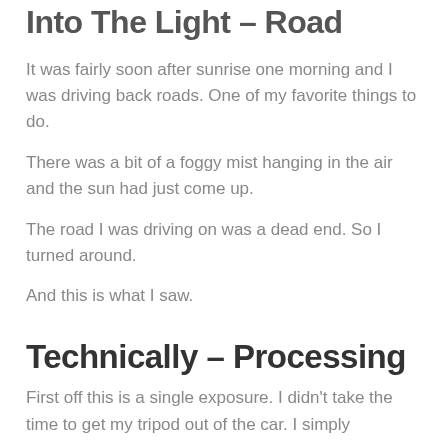Into The Light – Road
It was fairly soon after sunrise one morning and I was driving back roads. One of my favorite things to do.
There was a bit of a foggy mist hanging in the air and the sun had just come up.
The road I was driving on was a dead end. So I turned around.
And this is what I saw.
Technically – Processing
First off this is a single exposure. I didn't take the time to get my tripod out of the car. I simply